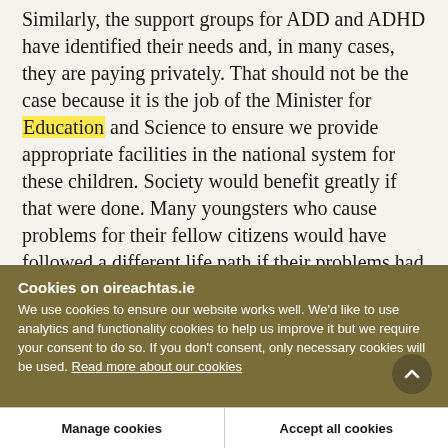Similarly, the support groups for ADD and ADHD have identified their needs and, in many cases, they are paying privately. That should not be the case because it is the job of the Minister for Education and Science to ensure we provide appropriate facilities in the national system for these children. Society would benefit greatly if that were done. Many youngsters who cause problems for their fellow citizens would have followed a different life path if their problems had been addressed at an early stage in the education system. The children who are described as
Cookies on oireachtas.ie
We use cookies to ensure our website works well. We'd like to use analytics and functionality cookies to help us improve it but we require your consent to do so. If you don't consent, only necessary cookies will be used. Read more about our cookies